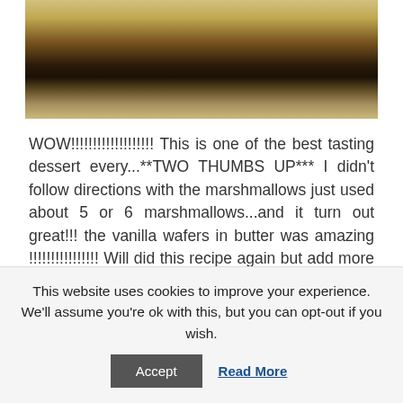[Figure (photo): Close-up photo of a dessert, showing layers with a dark chocolate or cookie crust and a light cream or custard filling, viewed from the side on a plate.]
WOW!!!!!!!!!!!!!!!!!!! This is one of the best tasting dessert every...**TWO THUMBS UP*** I didn't follow directions with the marshmallows just used about 5 or 6 marshmallows...and it turn out great!!! the vanilla wafers in butter was amazing !!!!!!!!!!!!!!!! Will did this recipe again but add more wafers. LOVE IT!!!!
I made this dish for Valentine's Day, and my boyfriend said it was the best dessert he had ever had! I am not a huge banana fan, and I loved it! I didn't add the nuts, but everything else was the same. Highly
This website uses cookies to improve your experience. We'll assume you're ok with this, but you can opt-out if you wish.
Accept
Read More